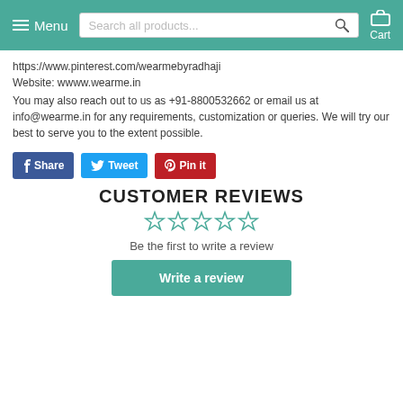Menu | Search all products... | Cart
https://www.pinterest.com/wearmebyradhaji
Website: wwww.wearme.in
You may also reach out to us as +91-8800532662 or email us at info@wearme.in for any requirements, customization or queries. We will try our best to serve you to the extent possible.
[Figure (other): Social share buttons: Share (Facebook), Tweet (Twitter), Pin it (Pinterest)]
CUSTOMER REVIEWS
[Figure (other): Five empty star rating icons in teal/outline style]
Be the first to write a review
Write a review